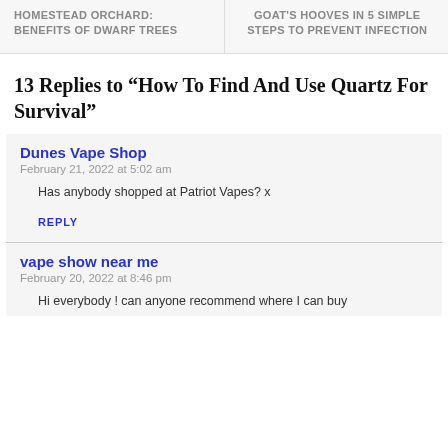HOMESTEAD ORCHARD: BENEFITS OF DWARF TREES
GOAT'S HOOVES IN 5 SIMPLE STEPS TO PREVENT INFECTION
13 Replies to “How To Find And Use Quartz For Survival”
Dunes Vape Shop
February 21, 2022 at 5:02 am
Has anybody shopped at Patriot Vapes? x
REPLY
vape show near me
February 20, 2022 at 8:46 pm
Hi everybody ! can anyone recommend where I can buy